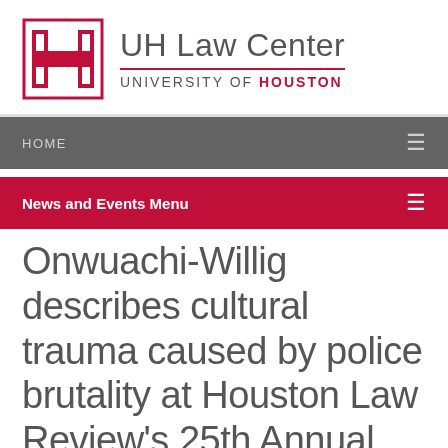[Figure (logo): UH Law Center University of Houston logo with red H emblem]
UH Law Center
UNIVERSITY OF HOUSTON
HOME
News and Events Menu
Onwuachi-Willig describes cultural trauma caused by police brutality at Houston Law Review's 25th Annual